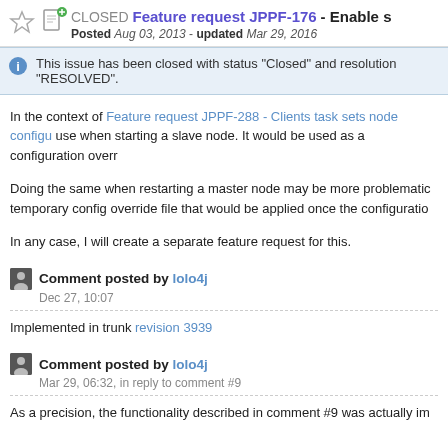CLOSED Feature request JPPF-176 - Enable s
Posted Aug 03, 2013 - updated Mar 29, 2016
This issue has been closed with status "Closed" and resolution "RESOLVED".
In the context of Feature request JPPF-288 - Clients task sets node configu use when starting a slave node. It would be used as a configuration overr
Doing the same when restarting a master node may be more problematic temporary config override file that would be applied once the configuratio
In any case, I will create a separate feature request for this.
Comment posted by lolo4j
Dec 27, 10:07
Implemented in trunk revision 3939
Comment posted by lolo4j
Mar 29, 06:32, in reply to comment #9
As a precision, the functionality described in comment #9 was actually im